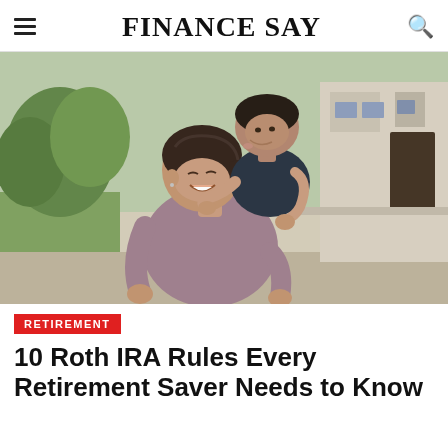FINANCE SAY
[Figure (photo): A woman smiling while giving a young boy a piggyback ride outdoors, in front of a house with green lawn and trees.]
RETIREMENT
10 Roth IRA Rules Every Retirement Saver Needs to Know